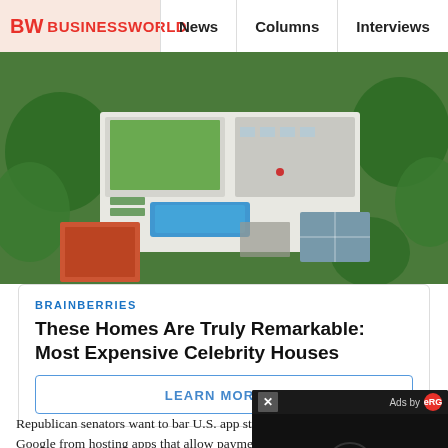BW BUSINESSWORLD | News | Columns | Interviews | BW
[Figure (photo): Aerial view of a large luxury estate with pool, green lawn, tennis court, and surrounding trees]
BRAINBERRIES
These Homes Are Truly Remarkable: Most Expensive Celebrity Houses
LEARN MORE >
Republican senators want to bar U.S. app stores, including Apple and Google from hosting apps that allow payments to be made with China's digital currency, saying the payment system could allow Beijing to...
The bill states that companies that own or operate "shall not carry or support any app in their... the United States that accepts or enables transactions in...